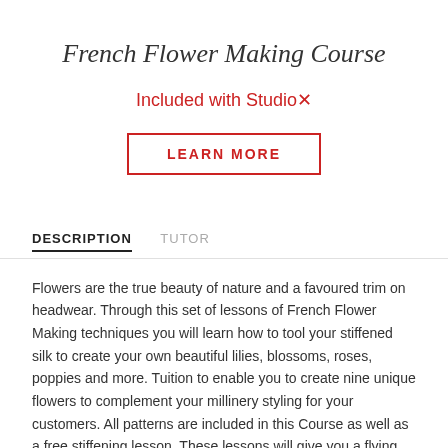French Flower Making Course
Included with Studio×
LEARN MORE
DESCRIPTION   TUTOR
Flowers are the true beauty of nature and a favoured trim on headwear. Through this set of lessons of French Flower Making techniques you will learn how to tool your stiffened silk to create your own beautiful lilies, blossoms, roses, poppies and more. Tuition to enable you to create nine unique flowers to complement your millinery styling for your customers. All patterns are included in this Course as well as a free stiffening lesson. These lessons will give you a flying start to create